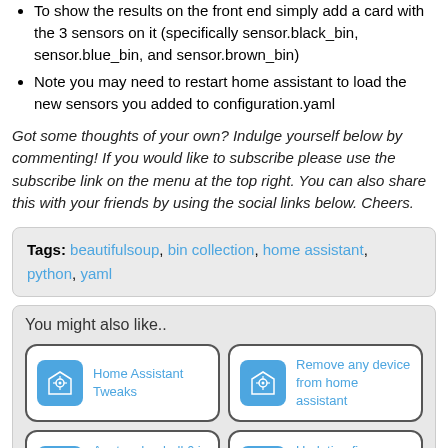To show the results on the front end simply add a card with the 3 sensors on it (specifically sensor.black_bin, sensor.blue_bin, and sensor.brown_bin)
Note you may need to restart home assistant to load the new sensors you added to configuration.yaml
Got some thoughts of your own? Indulge yourself below by commenting! If you would like to subscribe please use the subscribe link on the menu at the top right. You can also share this with your friends by using the social links below. Cheers.
Tags: beautifulsoup, bin collection, home assistant, python, yaml
You might also like..
Home Assistant Tweaks
Remove any device from home assistant
Aeotec doorbell 6 in HA — how to trigger the bell
Updating firmware on Conbee II stick for Home Assistant